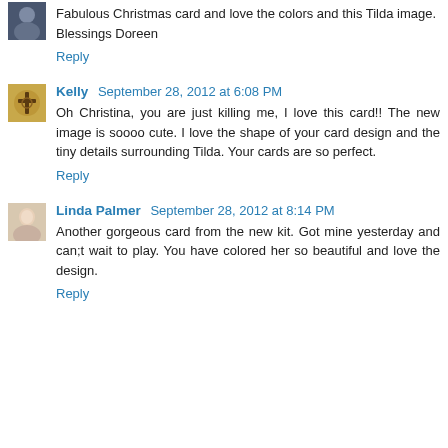[Figure (photo): Small avatar image of a person in top-left corner of first comment]
Fabulous Christmas card and love the colors and this Tilda image.
Blessings Doreen
Reply
[Figure (photo): Small avatar image with decorative cross symbol for Kelly]
Kelly   September 28, 2012 at 6:08 PM
Oh Christina, you are just killing me, I love this card!! The new image is soooo cute. I love the shape of your card design and the tiny details surrounding Tilda. Your cards are so perfect.
Reply
[Figure (photo): Small avatar photo of Linda Palmer]
Linda Palmer   September 28, 2012 at 8:14 PM
Another gorgeous card from the new kit. Got mine yesterday and can;t wait to play. You have colored her so beautiful and love the design.
Reply